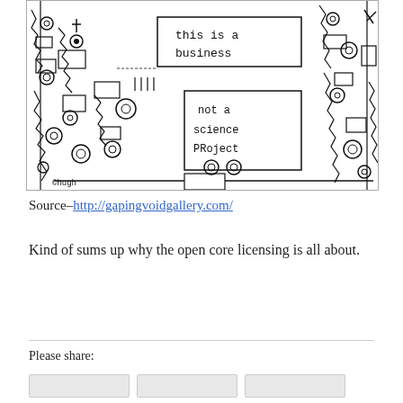[Figure (illustration): Black and white hand-drawn illustration by Hugh (©hugh) showing an abstract cityscape or machine-like environment with circular eye-like shapes and angular structures. Two signs/boxes in the drawing read 'this is a business' and 'not a science project'. Artist signature '©hugh' visible at bottom left.]
Source–http://gapingvoidgallery.com/
Kind of sums up why the open core licensing is all about.
Please share: